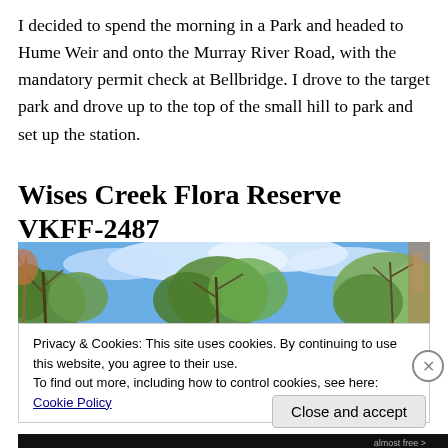I decided to spend the morning in a Park and headed to Hume Weir and onto the Murray River Road, with the mandatory permit check at Bellbridge. I drove to the target park and drove up to the top of the small hill to park and set up the station.
Wises Creek Flora Reserve VKFF-2487
[Figure (photo): Photo looking up through eucalyptus/gum trees at a blue sky with white clouds, showing branches and foliage of Australian bush.]
Privacy & Cookies: This site uses cookies. By continuing to use this website, you agree to their use.
To find out more, including how to control cookies, see here: Cookie Policy